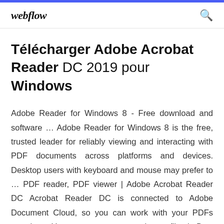webflow
Télécharger Adobe Acrobat Reader DC 2019 pour Windows
Adobe Reader for Windows 8 - Free download and software … Adobe Reader for Windows 8 is the free, trusted leader for reliably viewing and interacting with PDF documents across platforms and devices. Desktop users with keyboard and mouse may prefer to … PDF reader, PDF viewer | Adobe Acrobat Reader DC Acrobat Reader DC is connected to Adobe Document Cloud, so you can work with your PDFs anywhere. You can even access and store files in Box, Dropbox, Google Drive, or